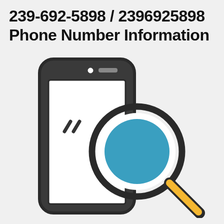239-692-5898 / 2396925898 Phone Number Information
[Figure (illustration): Illustration of a smartphone with a magnifying glass overlaid on it. The magnifying glass has a teal/blue-filled circle lens with a dark border, and a yellow handle. The phone is shown in dark outline style with a white screen, small circular camera and speaker slot at the top, and two diagonal tick marks on the screen. The background is light gray.]